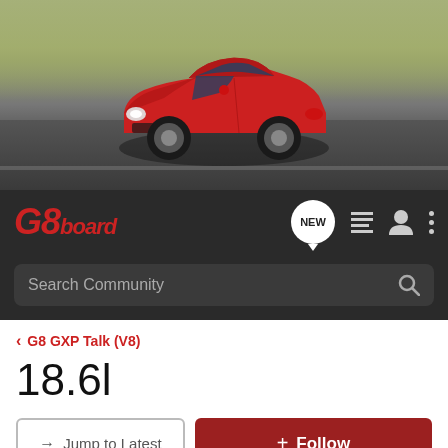[Figure (photo): Red Pontiac G8 GXP sedan driving on a road with blurred background suggesting motion]
G8board — NEW — navigation icons
Search Community
< G8 GXP Talk (V8)
18.6l
→ Jump to Latest
+ Follow
1 - 14 of 14 Posts
TryMe · QWIK
Joined Apr 11, 2008 · 422 Posts